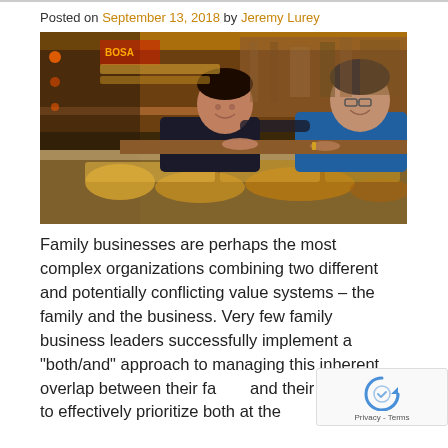Posted on September 13, 2018 by Jeremy Lurey
[Figure (photo): Two people smiling behind a deli/bakery glass display counter filled with food items. The person on the left is a younger man in a dark shirt with his arm around an older woman on the right wearing a blue top and glasses. The background shows shelves with various products in a shop setting.]
Family businesses are perhaps the most complex organizations combining two different and potentially conflicting value systems – the family and the business. Very few family business leaders successfully implement a "both/and" approach to managing this inherent overlap between their family and their business to effectively prioritize both at the